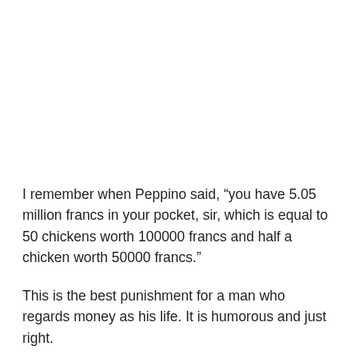I remember when Peppino said, “you have 5.05 million francs in your pocket, sir, which is equal to 50 chickens worth 100000 francs and half a chicken worth 50000 francs.”
This is the best punishment for a man who regards money as his life. It is humorous and just right.
In the new count of Monte Cristo, Danglars had few chances to appear and finally died perfunctorily in a duel with the